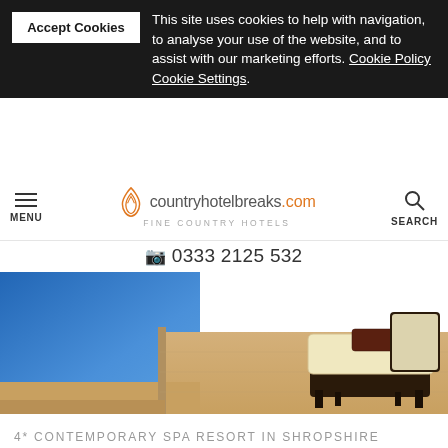Accept Cookies  This site uses cookies to help with navigation, to analyse your use of the website, and to assist with our marketing efforts. Cookie Policy Cookie Settings.
countryhotelbreaks.com — FINE COUNTRY HOTELS — MENU | SEARCH — 0333 2125 532
[Figure (photo): Hotel spa pool area with a dark wicker lounge chair and cream cushion beside a blue swimming pool on beige tile flooring]
4* CONTEMPORARY SPA RESORT IN SHROPSHIRE
4 offers available, 1 to 7 nights starting from £87.50 pppn
£87.50 pppn
✓ Instant Availability